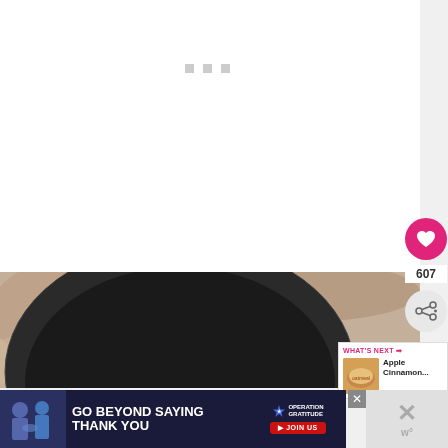[Figure (other): White background area with three small gray loading/placeholder squares arranged horizontally, indicating a loading state for an image or content.]
[Figure (photo): Close-up overhead photo of a large black cast iron pan or griddle on a light wooden or stone surface, with a red and white measuring tape visible on the right side showing measurements including 50, 75, 100, 125, 150, 200, 250.]
[Figure (infographic): Pink heart/like button showing 607 likes, and a gray share button with plus icon, on right side of page.]
[Figure (photo): What's Next panel with small thumbnail of Apple Cinnamon food item with orange background, with hot pink arrow and text reading 'WHAT'S NEXT' and 'Apple Cinnamon...']
[Figure (infographic): Advertisement banner for Operation Gratitude with dark navy background, showing people shaking hands on left, text 'GO BEYOND SAYING THANK YOU', Operation Gratitude logo with star, and red JOIN US button. Close X button on right side.]